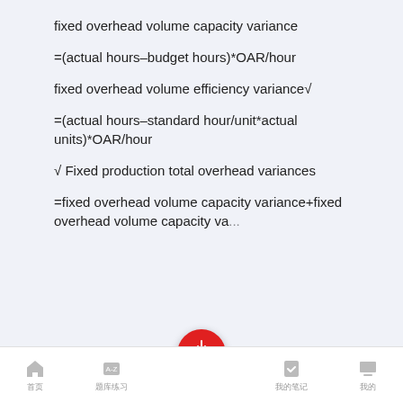fixed overhead volume capacity variance
fixed overhead volume efficiency variance√
√ Fixed production total overhead variances
首页 | 题库练习 | 上传笔记 | 我的笔记 | 我的